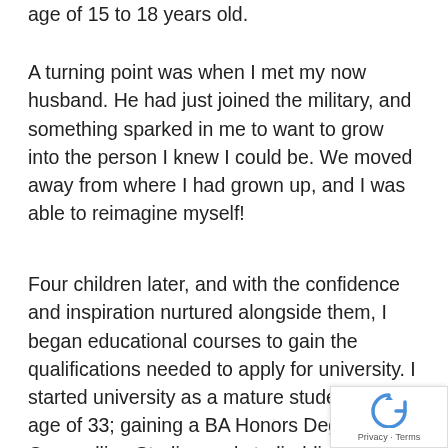age of 15 to 18 years old.
A turning point was when I met my now husband. He had just joined the military, and something sparked in me to want to grow into the person I knew I could be. We moved away from where I had grown up, and I was able to reimagine myself!
Four children later, and with the confidence and inspiration nurtured alongside them, I began educational courses to gain the qualifications needed to apply for university. I started university as a mature student at the age of 33; gaining a BA Honors Degree in Counselling Studies and studied for 2 years as an Occupational Therapist.
Privacy · Terms